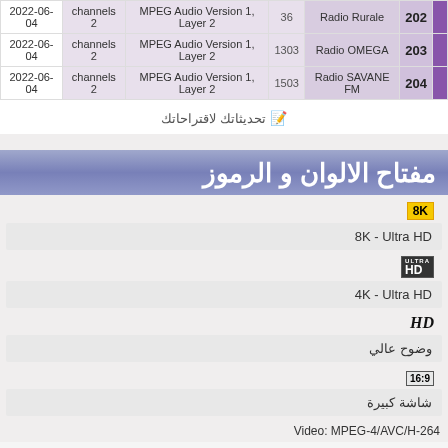| Date | Channels | Format | SID | Name | Num |
| --- | --- | --- | --- | --- | --- |
| 2022-06-04 | channels 2 | MPEG Audio Version 1, Layer 2 | 36 | Radio Rurale | 202 |
| 2022-06-04 | channels 2 | MPEG Audio Version 1, Layer 2 | 1303 | Radio OMEGA | 203 |
| 2022-06-04 | channels 2 | MPEG Audio Version 1, Layer 2 | 1503 | Radio SAVANE FM | 204 |
📝 تحديثاتك لاقتراحاتك
مفتاح الالوان و الرموز
8K - Ultra HD
4K - Ultra HD
وضوح عالي
شاشة كبيرة
Video: MPEG-4/AVC/H-264